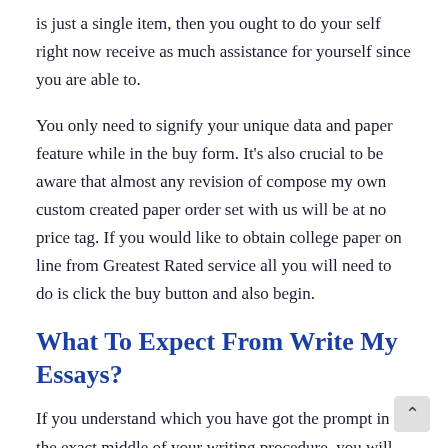is just a single item, then you ought to do your self right now receive as much assistance for yourself since you are able to.
You only need to signify your unique data and paper feature while in the buy form. It's also crucial to be aware that almost any revision of compose my own custom created paper order set with us will be at no price tag. If you would like to obtain college paper on line from Greatest Rated service all you will need to do is click the buy button and also begin.
What To Expect From Write My Essays?
If you understand which you have got the prompt in the exact middle of your writing procedure, you will need to get started writing again from the first beginning. Whenever u have set the purchase, the writers that are curious and